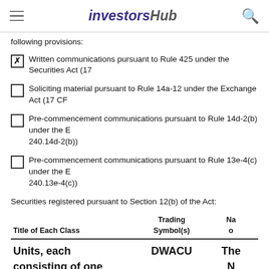investorshub
following provisions:
☒ Written communications pursuant to Rule 425 under the Securities Act (17
☐ Soliciting material pursuant to Rule 14a-12 under the Exchange Act (17 CF
☐ Pre-commencement communications pursuant to Rule 14d-2(b) under the Exchange Act (17 CFR 240.14d-2(b))
☐ Pre-commencement communications pursuant to Rule 13e-4(c) under the Exchange Act (17 CFR 240.13e-4(c))
Securities registered pursuant to Section 12(b) of the Act:
| Title of Each Class | Trading Symbol(s) | Na o |
| --- | --- | --- |
| Units, each consisting of one share of Class A | DWACU | The N |